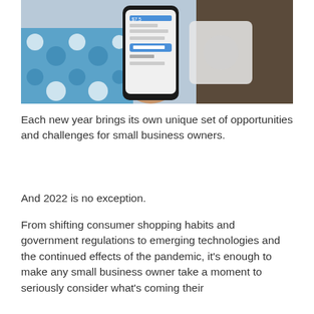[Figure (photo): A person holding a smartphone displaying a mobile app interface, with a colorful fabric background and a white device in the background.]
Each new year brings its own unique set of opportunities and challenges for small business owners.
And 2022 is no exception.
From shifting consumer shopping habits and government regulations to emerging technologies and the continued effects of the pandemic, it's enough to make any small business owner take a moment to seriously consider what's coming their